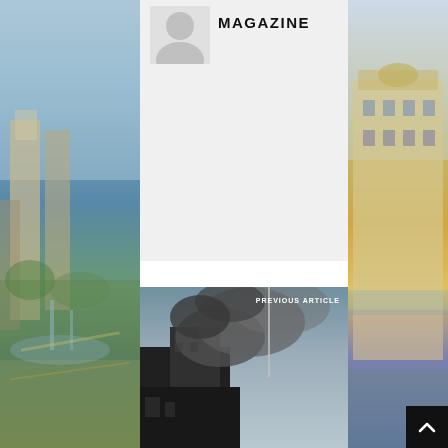[Figure (photo): Left background: city scene with fountains, buildings, blue sky]
[Figure (photo): Right background: ornate building facade, city architecture]
[Figure (photo): Avatar/profile silhouette icon (grey circle)]
MAGAZINE
[Figure (photo): Previous article image showing smoke billowing from a building with a flag/pole, dark sky]
PREVIOUS ARTICLE
STATESIDE STORIES: “DOES THE WORLD…
AUTHORS OF FLAMENCO JAZZ AT THE OFF DE LA LATINA THEATER
[Figure (photo): Bottom thumbnail strip: left portion shows dark building/interior scene, right portion shows grey/blue tones]
[Figure (other): Scroll-to-top button (dark square with up arrow)]